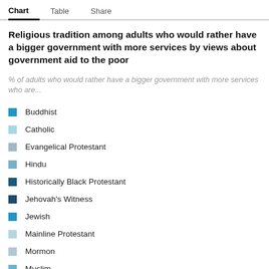Chart  Table  Share
Religious tradition among adults who would rather have a bigger government with more services by views about government aid to the poor
% of adults who would rather have a bigger government with more services who are...
Buddhist
Catholic
Evangelical Protestant
Hindu
Historically Black Protestant
Jehovah's Witness
Jewish
Mainline Protestant
Mormon
Muslim
Orthodox Christian